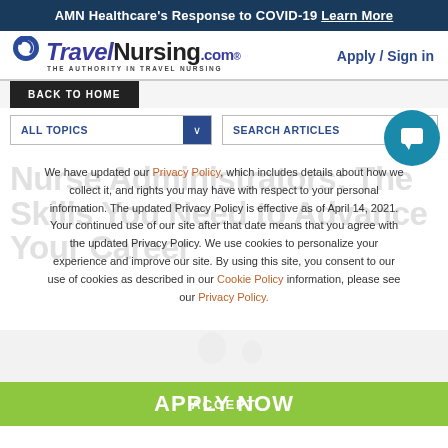AMN Healthcare's Response to COVID-19 Learn More
[Figure (logo): TravelNursing.com logo with circular arrow icon, tagline THE AUTHORITY IN TRAVEL NURSING]
Apply / Sign in
BACK TO HOME
ALL TOPICS
SEARCH ARTICLES
Nurse Administrators: The Skills You Need to Advance Your Career
We have updated our Privacy Policy, which includes details about how we collect it, and rights you may have with respect to your personal information. The updated Privacy Policy is effective as of April 14, 2021. Your continued use of our site after that date means that you agree with the updated Privacy Policy. We use cookies to personalize your experience and improve our site. By using this site, you consent to our use of cookies as described in our Cookie Policy information, please see our Privacy Policy.
ACCEPT
APPLY NOW